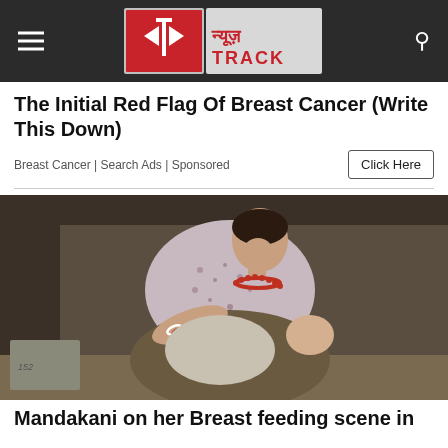News Track (न्यूज़ TRACK) logo with hamburger menu and search icon
The Initial Red Flag Of Breast Cancer (Write This Down)
Breast Cancer | Search Ads | Sponsored
[Figure (photo): A woman breastfeeding a baby, wearing a floral blouse and red bead necklace with bangles, sitting indoors]
Mandakani on her Breast feeding scene in